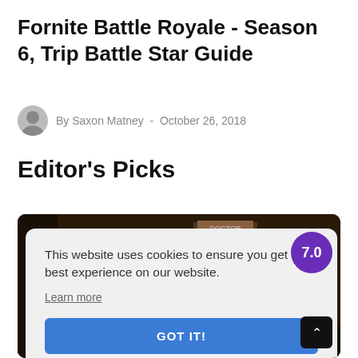Fornite Battle Royale - Season 6, Trip Battle Star Guide
By Saxon Matney  -  October 26, 2018
Editor's Picks
[Figure (screenshot): Game screenshot with cookie consent modal overlay showing 'This website uses cookies to ensure you get the best experience on our website. Learn more' and a blue 'GOT IT!' button. A purple score badge showing 7.0 is in the upper right of the image.]